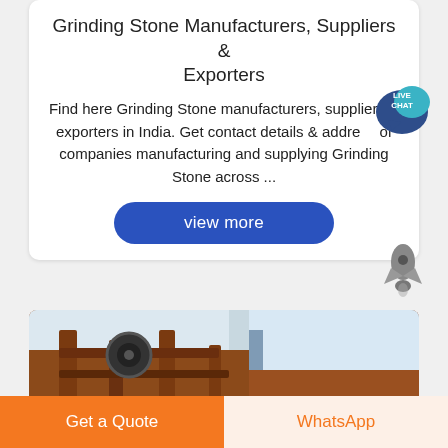Grinding Stone Manufacturers, Suppliers & Exporters
Find here Grinding Stone manufacturers, suppliers & exporters in India. Get contact details & address of companies manufacturing and supplying Grinding Stone across ...
[Figure (other): Live Chat bubble icon — circular teal/navy speech bubble with text LIVE CHAT]
[Figure (other): Rocket icon — grey rocket emoji/icon]
[Figure (other): view more button — blue rounded rectangle button with white text]
[Figure (photo): Industrial machinery photograph — orange/brown metal structure, grinding/mining equipment with machinery parts visible against sky background]
[Figure (other): Get a Quote button — orange rectangular button with white text]
[Figure (other): WhatsApp button — light peach rectangular button with orange WhatsApp text]